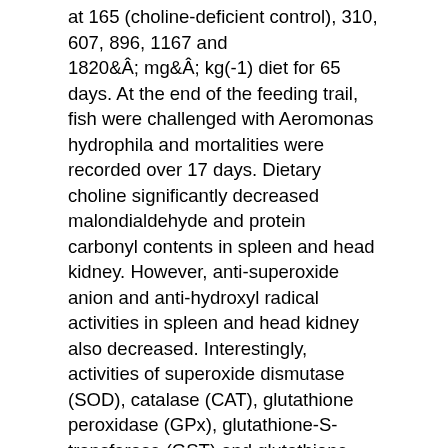at 165 (choline-deficient control), 310, 607, 896, 1167 and 1820 mg kg(-1) diet for 65 days. At the end of the feeding trail, fish were challenged with Aeromonas hydrophila and mortalities were recorded over 17 days. Dietary choline significantly decreased malondialdehyde and protein carbonyl contents in spleen and head kidney. However, anti-superoxide anion and anti-hydroxyl radical activities in spleen and head kidney also decreased. Interestingly, activities of superoxide dismutase (SOD), catalase (CAT), glutathione peroxidase (GPx), glutathione-S-transferase (GST) and glutathione reductase (GR) in spleen, GPx activity in head kidney, and glutathione contents in spleen and head kidney were decreased with increase of dietary choline levels up to a certain point, whereas, activities of SOD, GST and GR in head kidney showed no significantly differences among groups. Similarly, expression levels of CuZnSOD, MnSOD, CAT, GPx1a, GPx1b and GR gene in spleen and head kidney were significantly lower in group with choline level of 607 mg kg(-1) diet than those in the choline-deficient group. The relative gene expressions of Nrf2 in head kidney and Keap1a in spleen and head kidney were decreased with increasing of dietary choline up to a certain point. However, the relative gene expression of Nrf2 in spleen were not significantly affected by dietary choline. In